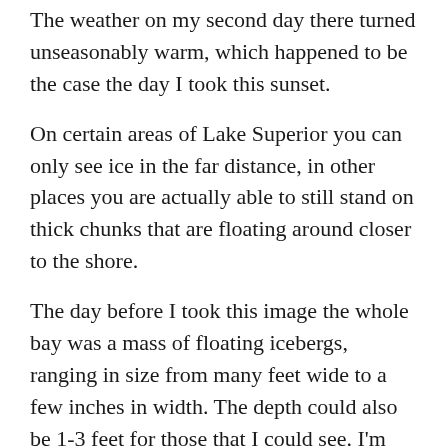The weather on my second day there turned unseasonably warm, which happened to be the case the day I took this sunset.
On certain areas of Lake Superior you can only see ice in the far distance, in other places you are actually able to still stand on thick chunks that are floating around closer to the shore.
The day before I took this image the whole bay was a mass of floating icebergs, ranging in size from many feet wide to a few inches in width. The depth could also be 1-3 feet for those that I could see. I'm sure much larger for those in the middle of each of the Great Lakes.
I was really hoping to get some sunset images through the icebergs with loads of golden color.